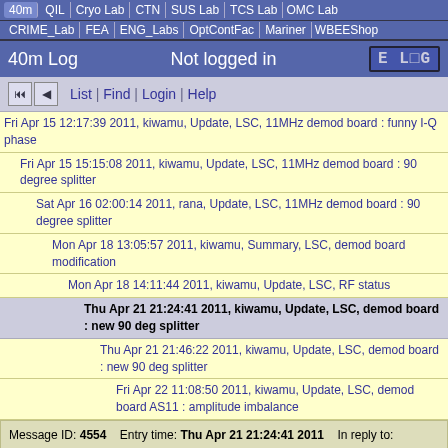40m | QIL | Cryo Lab | CTN | SUS Lab | TCS Lab | OMC Lab | CRIME_Lab | FEA | ENG_Labs | OptContFac | Mariner | WBEEShop
40m Log   Not logged in   ELOG
List | Find | Login | Help
Fri Apr 15 12:17:39 2011, kiwamu, Update, LSC, 11MHz demod board : funny I-Q phase
Fri Apr 15 15:15:08 2011, kiwamu, Update, LSC, 11MHz demod board : 90 degree splitter
Sat Apr 16 02:00:14 2011, rana, Update, LSC, 11MHz demod board : 90 degree splitter
Mon Apr 18 13:05:57 2011, kiwamu, Summary, LSC, demod board modification
Mon Apr 18 14:11:44 2011, kiwamu, Update, LSC, RF status
Thu Apr 21 21:24:41 2011, kiwamu, Update, LSC, demod board : new 90 deg splitter
Thu Apr 21 21:46:22 2011, kiwamu, Update, LSC, demod board : new 90 deg splitter
Fri Apr 22 11:08:50 2011, kiwamu, Update, LSC, demod board AS11 : amplitude imbalance
Message ID: 4554   Entry time: Thu Apr 21 21:24:41 2011   In reply to: 4538   Reply to this: 4555
| Field | Value |
| --- | --- |
| Author: | kiwamu |
| Type: | Update |
| Category: | LSC |
| Subject: | demod board : new 90 deg splitter |